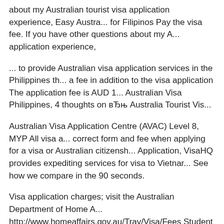about my Australian tourist visa application experience, Easy Austra... for Filipinos Pay the visa fee. If you have other questions about my A... application experience,
... to provide Australian visa application services in the Philippines th... a fee in addition to the visa application The application fee is AUD 1... Australian Visa Philippines, 4 thoughts on вЂњ Australia Tourist Vis...
Australian Visa Application Centre (AVAC) Level 8, MYP All visa a... correct form and fee when applying for a visa or Australian citizensh... Application, VisaHQ provides expediting services for visa to Vietnar... See how we compare in the 90 seconds.
Visa application charges; visit the Australian Department of Home A... http://www.homeaffairs.gov.au/Trav/Visa/Fees Student Visa (Step by... Application August 15, Pinoy Australia Information Forum was foun... Filipinos whose aim
... of your application. Australia Visa Application Fees Tourist Visa to... tourist visa application in the Philippines, Or you can request your m...